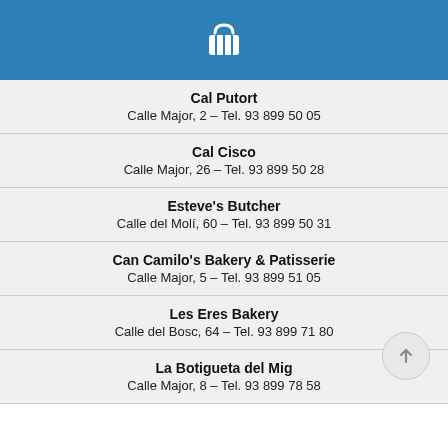[Figure (illustration): Blue header bar with a white shopping basket icon]
Cal Putort
Calle Major, 2 – Tel. 93 899 50 05
Cal Cisco
Calle Major, 26 – Tel. 93 899 50 28
Esteve's Butcher
Calle del Molí, 60 – Tel. 93 899 50 31
Can Camilo's Bakery & Patisserie
Calle Major, 5 – Tel. 93 899 51 05
Les Eres Bakery
Calle del Bosc, 64 – Tel. 93 899 71 80
La Botigueta del Mig
Calle Major, 8 – Tel. 93 899 78 58